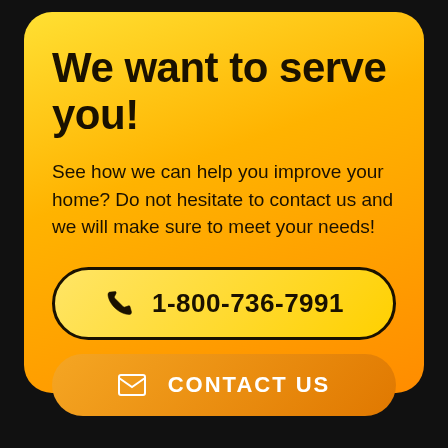We want to serve you!
See how we can help you improve your home? Do not hesitate to contact us and we will make sure to meet your needs!
1-800-736-7991
CONTACT US